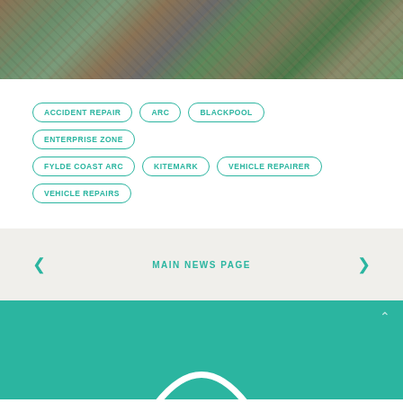[Figure (photo): Aerial photograph of an urban area showing buildings, roads, and green spaces viewed from above]
ACCIDENT REPAIR
ARC
BLACKPOOL
ENTERPRISE ZONE
FYLDE COAST ARC
KITEMARK
VEHICLE REPAIRER
VEHICLE REPAIRS
MAIN NEWS PAGE
[Figure (logo): Teal/green footer section with partial circular arc logo at bottom center and up arrow icon]